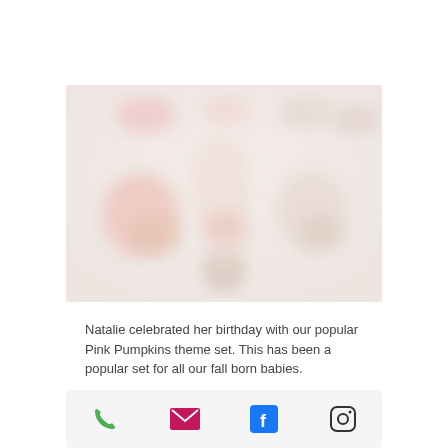[Figure (photo): A blurry, soft-focus photograph of what appears to be a baby birthday party with pink pumpkins theme decorations. The image shows soft pink and cream tones with blurred figures and balloons in the background.]
Natalie celebrated her birthday with our popular Pink Pumpkins theme set. This has been a popular set for all our fall born babies.
[Figure (other): Footer bar with four social/contact icons: phone (green), email (magenta envelope), Facebook (blue F), Instagram (camera outline).]